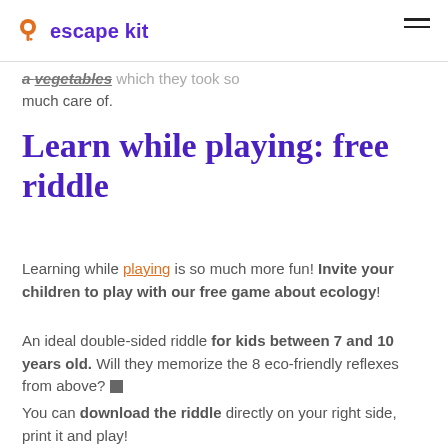escape kit
a vegetables which they took so much care of.
Learn while playing: free riddle
Learning while playing is so much more fun! Invite your children to play with our free game about ecology!
An ideal double-sided riddle for kids between 7 and 10 years old. Will they memorize the 8 eco-friendly reflexes from above?
You can download the riddle directly on your right side, print it and play!